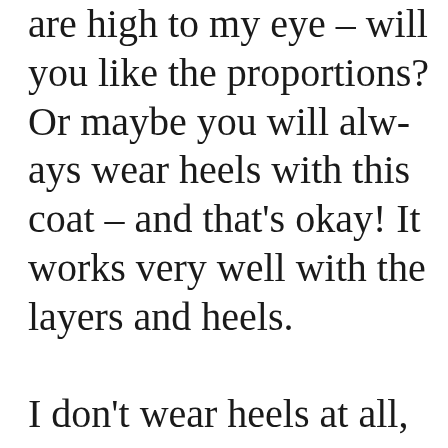are high to my eye – will you like the proportions? Or maybe you will always wear heels with this coat – and that's okay! It works very well with the layers and heels.

I don't wear heels at all, so I'm asking these questions from that point of view.....just in case you want to throw other footwear 🙂 ....but when it's blast arctic in Canada – who cares! STAY